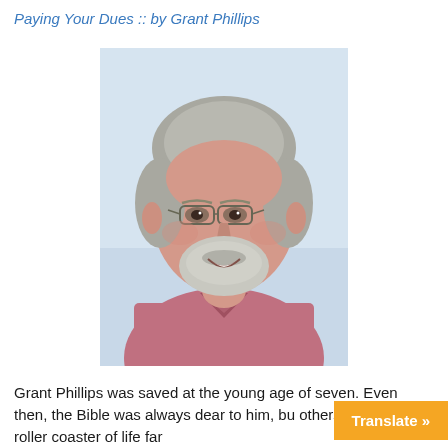Paying Your Dues :: by Grant Phillips
[Figure (photo): Portrait photo of Grant Phillips, an older man with gray hair and beard, wearing glasses and a pink polo shirt, smiling at the camera against a light background.]
Grant Phillips was saved at the young age of seven. Even then, the Bible was always dear to him, bu... others, he rode the roller coaster of life far...